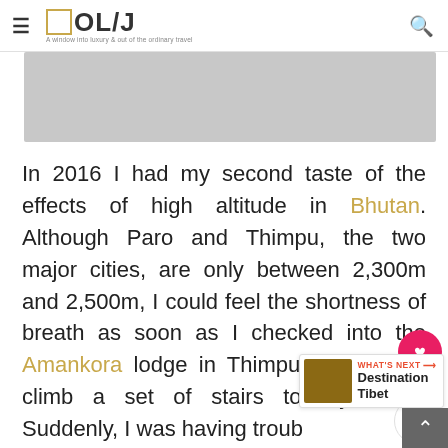OL/J — A window into luxury & out of the ordinary travel
[Figure (photo): Gray image placeholder area at top of article]
In 2016 I had my second taste of the effects of high altitude in Bhutan. Although Paro and Thimpu, the two major cities, are only between 2,300m and 2,500m, I could feel the shortness of breath as soon as I checked into the Amankora lodge in Thimpu and had to climb a set of stairs to my room. Suddenly, I was having troub...